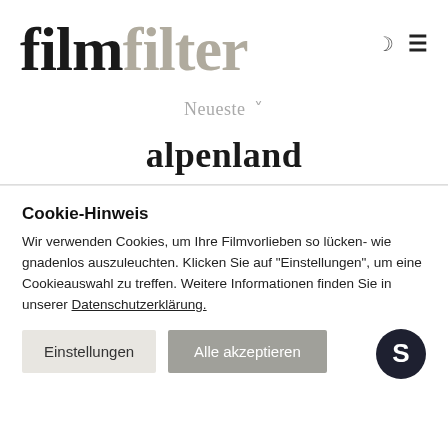filmfilter
Neueste ˅
alpenland
Cookie-Hinweis
Wir verwenden Cookies, um Ihre Filmvorlieben so lücken- wie gnadenlos auszuleuchten. Klicken Sie auf "Einstellungen", um eine Cookieauswahl zu treffen. Weitere Informationen finden Sie in unserer Datenschutzerklärung.
Einstellungen   Alle akzeptieren